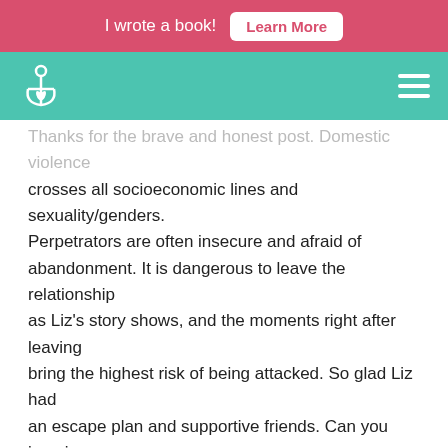I wrote a book! Learn More
[Figure (logo): Anchor with heart logo on teal navigation bar with hamburger menu icon]
Thanks for the brave and honest post. Domestic violence crosses all socioeconomic lines and sexuality/genders. Perpetrators are often insecure and afraid of abandonment. It is dangerous to leave the relationship as Liz's story shows, and the moments right after leaving bring the highest risk of being attacked. So glad Liz had an escape plan and supportive friends. Can you imagine living on an island where the location of a domestic violence shelter would be impossible to keep secret? Here's a tip I heard from a woman who left her abuser: *always* keep spare keys. They come in handy if your car is stolen too!
Loading...